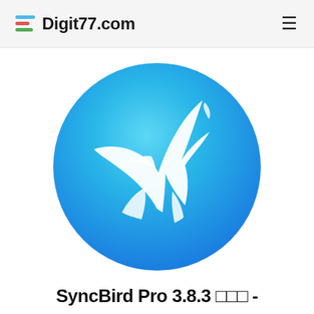Digit77.com
[Figure (logo): SyncBird Pro app icon — a white stylized swallow bird on a circular blue gradient background (cyan to blue)]
SyncBird Pro 3.8.3 □□□ -